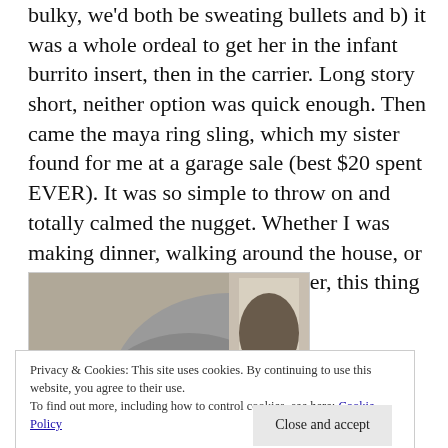bulky, we'd both be sweating bullets and b) it was a whole ordeal to get her in the infant burrito insert, then in the carrier. Long story short, neither option was quick enough. Then came the maya ring sling, which my sister found for me at a garage sale (best $20 spent EVER). It was so simple to throw on and totally calmed the nugget. Whether I was making dinner, walking around the house, or enjoying a 3-4 hour bridal shower, this thing REALLY came in handy.
[Figure (photo): A sleeping newborn baby nestled against a person wearing a grey shirt, viewed from above.]
Privacy & Cookies: This site uses cookies. By continuing to use this website, you agree to their use.
To find out more, including how to control cookies, see here: Cookie Policy